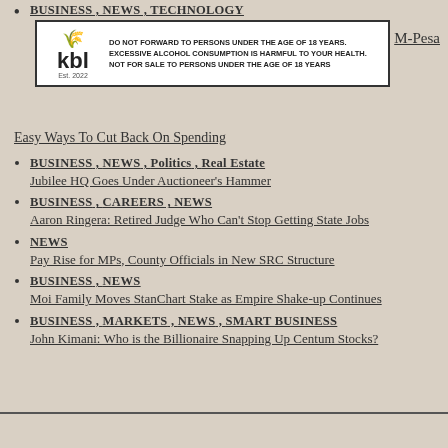BUSINESS , NEWS , TECHNOLOGY
[Figure (logo): KBL logo advertisement with alcohol warning text]
M-Pesa
Easy Ways To Cut Back On Spending
BUSINESS , NEWS , Politics , Real Estate
Jubilee HQ Goes Under Auctioneer’s Hammer
BUSINESS , CAREERS , NEWS
Aaron Ringera: Retired Judge Who Can’t Stop Getting State Jobs
NEWS
Pay Rise for MPs, County Officials in New SRC Structure
BUSINESS , NEWS
Moi Family Moves StanChart Stake as Empire Shake-up Continues
BUSINESS , MARKETS , NEWS , SMART BUSINESS
John Kimani: Who is the Billionaire Snapping Up Centum Stocks?